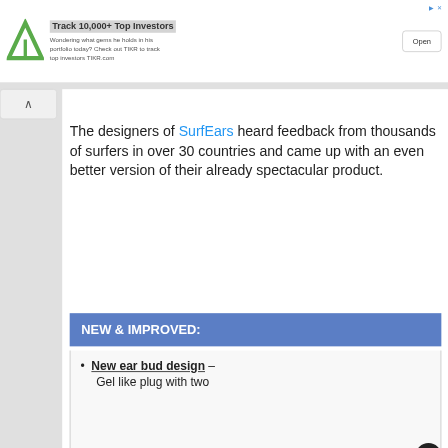[Figure (other): Advertisement banner: TIKR logo (green triangle A), heading 'Track 10,000+ Top Investors', body text 'Wondering what gems he holds in his portfolio today? Check out TIKR to track top investors TIKR.com', and an 'Open' button.]
The designers of SurfEars heard feedback from thousands of surfers in over 30 countries and came up with an even better version of their already spectacular product.
NEW & IMPROVED:
New ear bud design – Gel like plug with two